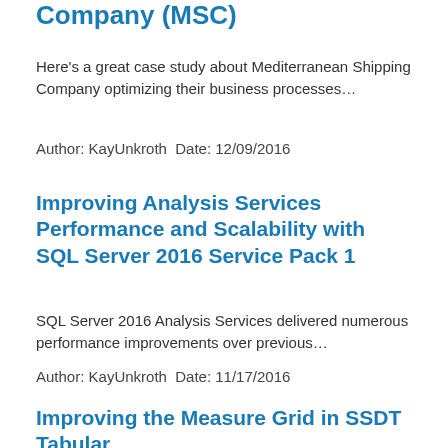Company (MSC)
Here's a great case study about Mediterranean Shipping Company optimizing their business processes…
Author: KayUnkroth Date: 12/09/2016
Improving Analysis Services Performance and Scalability with SQL Server 2016 Service Pack 1
SQL Server 2016 Analysis Services delivered numerous performance improvements over previous…
Author: KayUnkroth Date: 11/17/2016
Improving the Measure Grid in SSDT Tabular